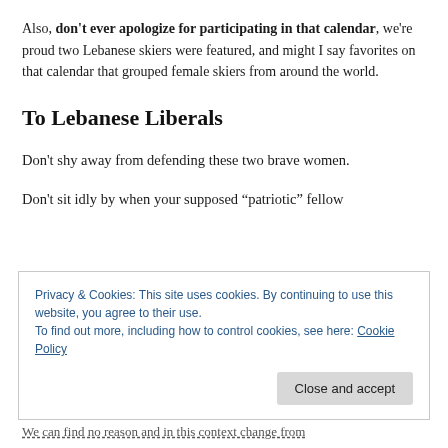Also, don't ever apologize for participating in that calendar, we're proud two Lebanese skiers were featured, and might I say favorites on that calendar that grouped female skiers from around the world.
To Lebanese Liberals
Don't shy away from defending these two brave women.
Don't sit idly by when your supposed “patriotic” fellow
Privacy & Cookies: This site uses cookies. By continuing to use this website, you agree to their use.
To find out more, including how to control cookies, see here: Cookie Policy
We can find no reason and in this context change from